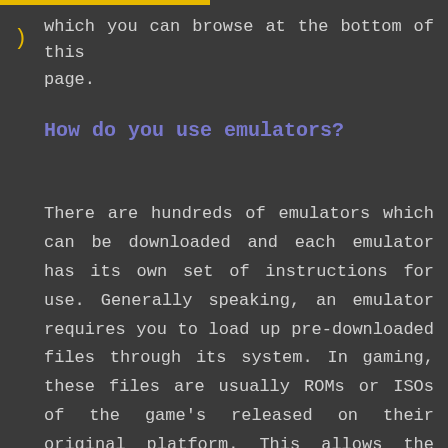which you can browse at the bottom of this page.
How do you use emulators?
There are hundreds of emulators which can be downloaded and each emulator has its own set of instructions for use. Generally speaking, an emulator requires you to load up pre-downloaded files through its system. In gaming, these files are usually ROMs or ISOs of the game's released on their original platform. This allows the emulator to run these files in the same way as the original platform would run